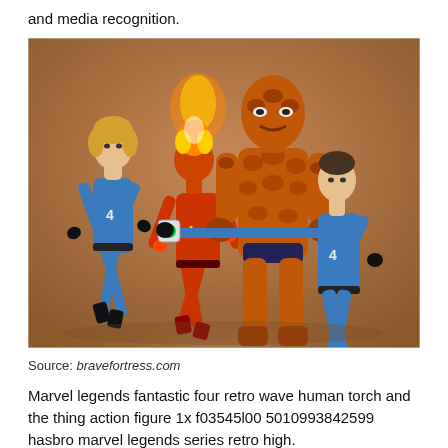and media recognition.
[Figure (photo): Four Fantastic Four action figures posed on a tan/brown surface: a female figure in blue suit (Invisible Woman), a red flaming figure (Human Torch), a large rocky orange figure (The Thing), and a male figure in blue suit with outstretched arm holding a device (Mr. Fantastic).]
Source: bravefortress.com
Marvel legends fantastic four retro wave human torch and the thing action figure 1x f03545l00 5010993842599 hasbro marvel legends series retro high.